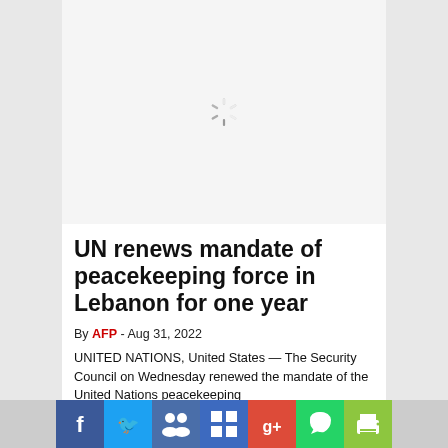[Figure (other): Loading spinner / image placeholder in the upper content area]
UN renews mandate of peacekeeping force in Lebanon for one year
By AFP - Aug 31, 2022
UNITED NATIONS, United States — The Security Council on Wednesday renewed the mandate of the United Nations peacekeeping
[Figure (other): Social sharing bar with icons for Facebook, Twitter, LinkedIn/people, Delicious, Google+, WhatsApp, Print]